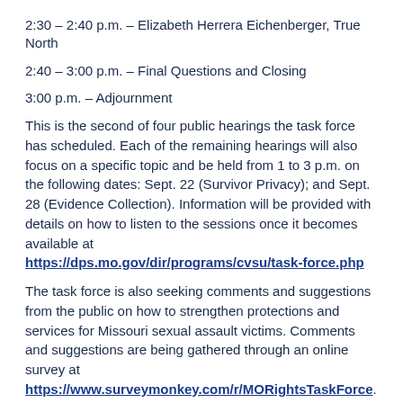2:30 – 2:40 p.m. – Elizabeth Herrera Eichenberger, True North
2:40 – 3:00 p.m. – Final Questions and Closing
3:00 p.m. – Adjournment
This is the second of four public hearings the task force has scheduled. Each of the remaining hearings will also focus on a specific topic and be held from 1 to 3 p.m. on the following dates: Sept. 22 (Survivor Privacy); and Sept. 28 (Evidence Collection). Information will be provided with details on how to listen to the sessions once it becomes available at https://dps.mo.gov/dir/programs/cvsu/task-force.php
The task force is also seeking comments and suggestions from the public on how to strengthen protections and services for Missouri sexual assault victims. Comments and suggestions are being gathered through an online survey at https://www.surveymonkey.com/r/MORightsTaskForce. The survey closes Sept. 30, 2021.
The Missouri Rights of Victims of Sexual Assault Task Force was created through Senate Bill 569, which was signed into law by Governor Mike Parson in July 2020. In addition to including the